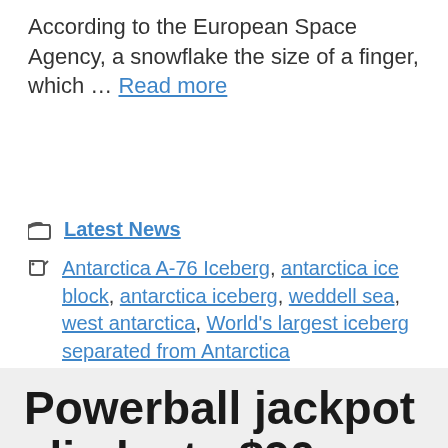According to the European Space Agency, a snowflake the size of a finger, which … Read more
Latest News
Antarctica A-76 Iceberg, antarctica ice block, antarctica iceberg, weddell sea, west antarctica, World's largest iceberg separated from Antarctica
Powerball jackpot climbs to $90 million